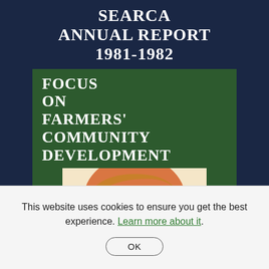SEARCA ANNUAL REPORT 1981-1982
[Figure (illustration): Book cover of SEARCA Annual Report 1981-1982. Dark navy blue background with white serif title text at top. A green panel below contains white bold text reading 'FOCUS ON FARMERS' COMMUNITY DEVELOPMENT'. Below that is a cream/beige rectangle containing an orange stylized illustration of a farmer's face in profile.]
This website uses cookies to ensure you get the best experience. Learn more about it.
OK